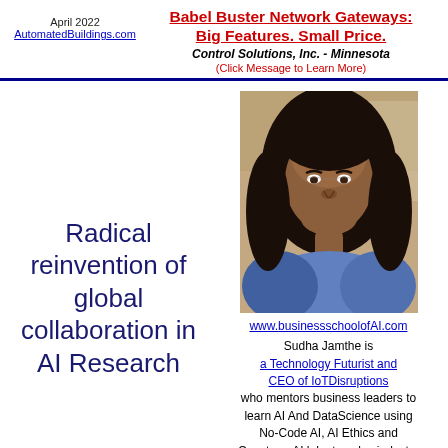April 2022
AutomatedBuildings.com
Babel Buster Network Gateways: Big Features. Small Price.
Control Solutions, Inc. - Minnesota
(Click Message to Learn More)
Radical reinvention of global collaboration in AI Research
[Figure (photo): Headshot photo of Sudha Jamthe, a woman with long dark hair, smiling, outdoors background]
www.businessschoolofAI.com

Sudha Jamthe is a Technology Futurist and CEO of IoTDisruptions who mentors business leaders to learn AI And DataScience using No-Code AI, AI Ethics and Capstone AI labs to solve industry